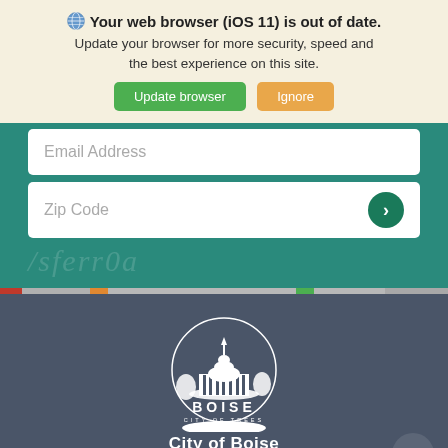🌐 Your web browser (iOS 11) is out of date. Update your browser for more security, speed and the best experience on this site.
Update browser | Ignore
Email Address
Zip Code
[Figure (logo): City of Boise circular seal logo showing capitol building with trees, white on dark background]
City of Boise